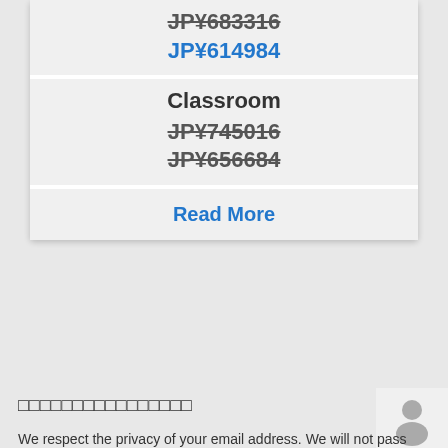JP¥683316
JP¥614984
Classroom
JP¥745016
JP¥656684
Read More
See All
□□□□□□□□□□□□□□□□
[Figure (illustration): Generic user/person avatar icon in gray]
We respect the privacy of your email address. We will not pass on or sell your address to others.